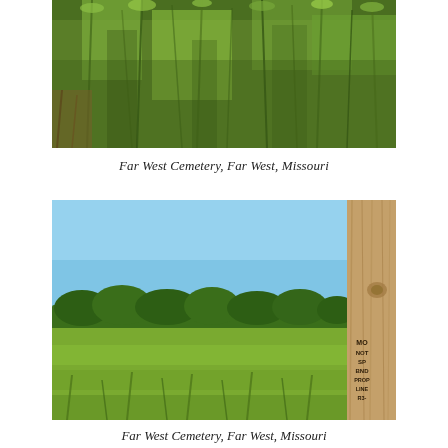[Figure (photo): Close-up photograph of tall green grass and vegetation, taken at Far West Cemetery, Far West, Missouri.]
Far West Cemetery, Far West, Missouri
[Figure (photo): Wide landscape photograph showing an open grassy field under a clear blue sky, with a tree line visible in the background and a wooden post with markings visible on the right edge. Taken at Far West Cemetery, Far West, Missouri.]
Far West Cemetery, Far West, Missouri